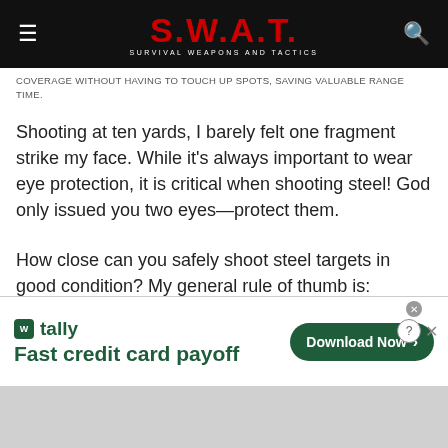S.W.A.T. — Survival Weapons and Tactics
COVERAGE WITHOUT HAVING TO TOUCH UP SPOTS, SAVING VALUABLE RANGE TIME.
Shooting at ten yards, I barely felt one fragment strike my face. While it's always important to wear eye protection, it is critical when shooting steel! God only issued you two eyes—protect them.
How close can you safely shoot steel targets in good condition? My general rule of thumb is:
[Figure (advertisement): Tally app advertisement — Fast credit card payoff, with Download Now button]